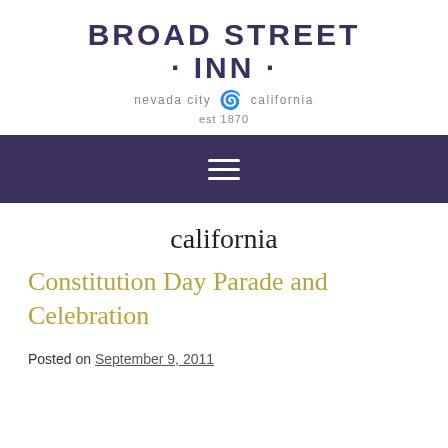[Figure (logo): Broad Street Inn logo with text 'BROAD STREET INN', 'nevada city · california', 'est 1870']
[Figure (other): Dark purple navigation bar with hamburger menu icon (three horizontal white lines)]
california
Constitution Day Parade and Celebration
Posted on September 9, 2011